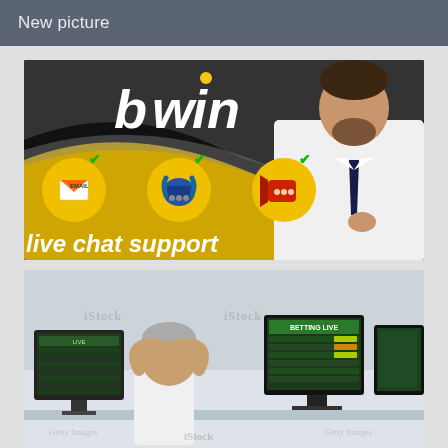New picture
[Figure (photo): bwin brand promotional banner showing logo, email/phone/live chat support icons with green checkmarks, text 'live chat support', and a customer support agent in white shirt and tie]
[Figure (photo): iStock watermarked photo of a person with hands on head sitting at a desk with multiple computer monitors showing sports betting/gambling interfaces]